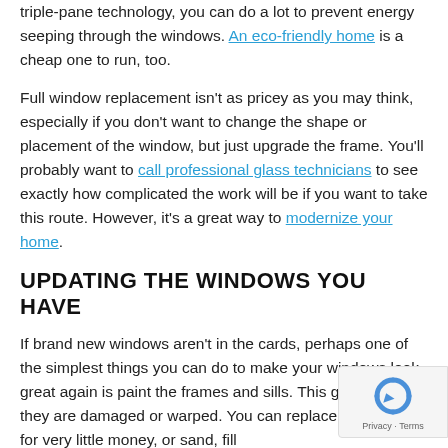triple-pane technology, you can do a lot to prevent energy seeping through the windows. An eco-friendly home is a cheap one to run, too.
Full window replacement isn't as pricey as you may think, especially if you don't want to change the shape or placement of the window, but just upgrade the frame. You'll probably want to call professional glass technicians to see exactly how complicated the work will be if you want to take this route. However, it's a great way to modernize your home.
UPDATING THE WINDOWS YOU HAVE
If brand new windows aren't in the cards, perhaps one of the simplest things you can do to make your windows look great again is paint the frames and sills. This goes double if they are damaged or warped. You can replace an entry sill for very little money, or sand, fill
[Figure (other): reCAPTCHA privacy badge with rotating arrows icon and Privacy - Terms text]